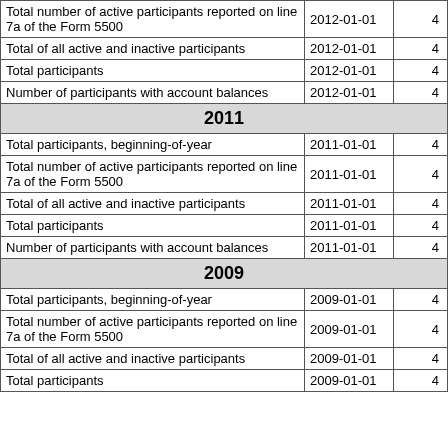|  |  |  |
| --- | --- | --- |
| Total number of active participants reported on line 7a of the Form 5500 | 2012-01-01 | 4 |
| Total of all active and inactive participants | 2012-01-01 | 4 |
| Total participants | 2012-01-01 | 4 |
| Number of participants with account balances | 2012-01-01 | 4 |
| 2011 |  |  |
| Total participants, beginning-of-year | 2011-01-01 | 4 |
| Total number of active participants reported on line 7a of the Form 5500 | 2011-01-01 | 4 |
| Total of all active and inactive participants | 2011-01-01 | 4 |
| Total participants | 2011-01-01 | 4 |
| Number of participants with account balances | 2011-01-01 | 4 |
| 2009 |  |  |
| Total participants, beginning-of-year | 2009-01-01 | 4 |
| Total number of active participants reported on line 7a of the Form 5500 | 2009-01-01 | 4 |
| Total of all active and inactive participants | 2009-01-01 | 4 |
| Total participants | 2009-01-01 | 4 |